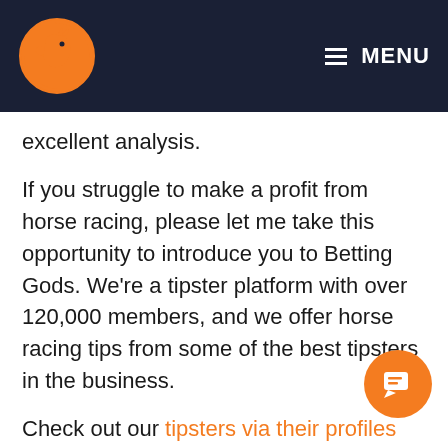MENU
excellent analysis.
If you struggle to make a profit from horse racing, please let me take this opportunity to introduce you to Betting Gods. We're a tipster platform with over 120,000 members, and we offer horse racing tips from some of the best tipsters in the business.
Check out our tipsters via their profiles where you can see their excellent results. You'll also be able to see statistics, such as